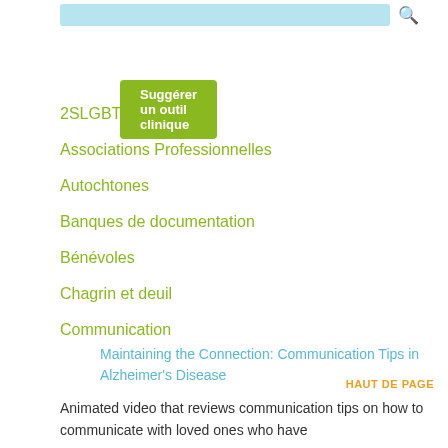[Figure (other): Search bar input (light blue background)]
Suggérer un outil clinique
2SLGBTQ+
Associations Professionnelles
Autochtones
Banques de documentation
Bénévoles
Chagrin et deuil
Communication
Maintaining the Connection: Communication Tips in Alzheimer's Disease
HAUT DE PAGE
Animated video that reviews communication tips on how to communicate with loved ones who have